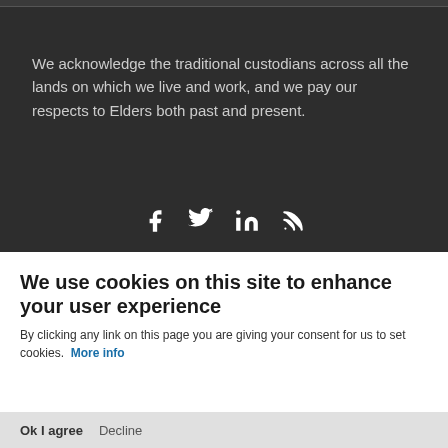We acknowledge the traditional custodians across all the lands on which we live and work, and we pay our respects to Elders both past and present.
[Figure (infographic): Social media icons: Facebook, Twitter, LinkedIn, RSS feed]
ACCESSIBILITY STATEMENT
PRIVACY POLICY
CONTACT US
© BUSHFIRE & NATURAL HAZARDS CRC
We use cookies on this site to enhance your user experience
By clicking any link on this page you are giving your consent for us to set cookies. More info